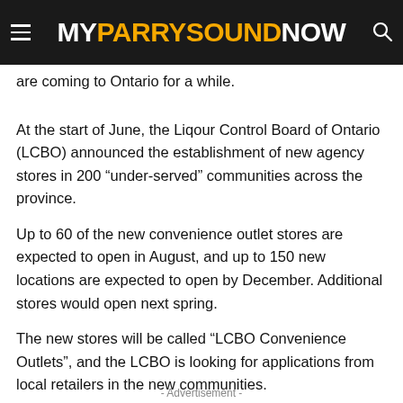MY PARRY SOUND NOW
are coming to Ontario for a while.
At the start of June, the Liqour Control Board of Ontario (LCBO) announced the establishment of new agency stores in 200 “under-served” communities across the province.
Up to 60 of the new convenience outlet stores are expected to open in August, and up to 150 new locations are expected to open by December. Additional stores would open next spring.
The new stores will be called “LCBO Convenience Outlets”, and the LCBO is looking for applications from local retailers in the new communities.
- Advertisement -